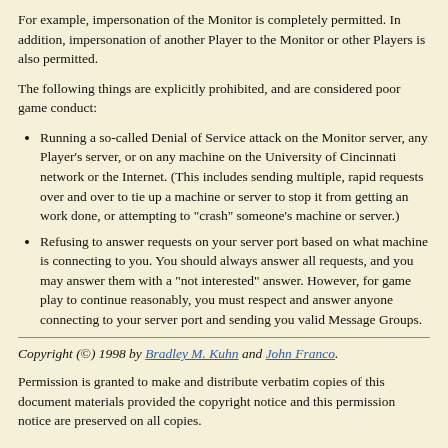For example, impersonation of the Monitor is completely permitted. In addition, impersonation of another Player to the Monitor or other Players is also permitted.
The following things are explicitly prohibited, and are considered poor game conduct:
Running a so-called Denial of Service attack on the Monitor server, any Player's server, or on any machine on the University of Cincinnati network or the Internet. (This includes sending multiple, rapid requests over and over to tie up a machine or server to stop it from getting an work done, or attempting to "crash" someone's machine or server.)
Refusing to answer requests on your server port based on what machine is connecting to you. You should always answer all requests, and you may answer them with a "not interested" answer. However, for game play to continue reasonably, you must respect and answer anyone connecting to your server port and sending you valid Message Groups.
Copyright (©) 1998 by Bradley M. Kuhn and John Franco.
Permission is granted to make and distribute verbatim copies of this document materials provided the copyright notice and this permission notice are preserved on all copies.